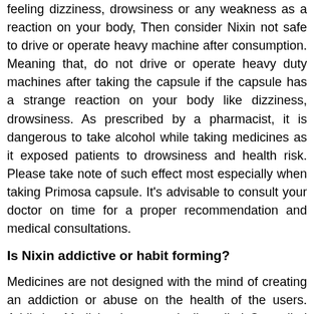feeling dizziness, drowsiness or any weakness as a reaction on your body, Then consider Nixin not safe to drive or operate heavy machine after consumption. Meaning that, do not drive or operate heavy duty machines after taking the capsule if the capsule has a strange reaction on your body like dizziness, drowsiness. As prescribed by a pharmacist, it is dangerous to take alcohol while taking medicines as it exposed patients to drowsiness and health risk. Please take note of such effect most especially when taking Primosa capsule. It's advisable to consult your doctor on time for a proper recommendation and medical consultations.
Is Nixin addictive or habit forming?
Medicines are not designed with the mind of creating an addiction or abuse on the health of the users. Addictive Medicine is categorically called Controlled substances by the government. For instance, Schedule H or X in India and schedule II-V in the US are controlled substances.
Please consult the medicine instruction manual on how to...